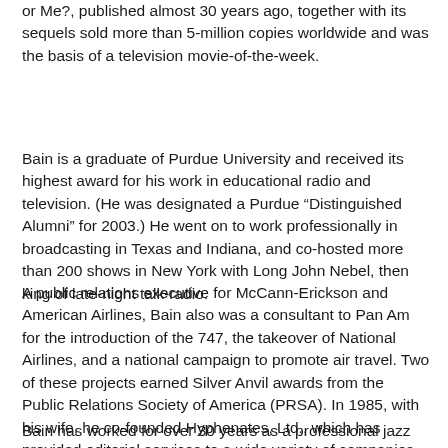or Me?, published almost 30 years ago, together with its sequels sold more than 5-million copies worldwide and was the basis of a television movie-of-the-week.
Bain is a graduate of Purdue University and received its highest award for his work in educational radio and television. (He was designated a Purdue “Distinguished Alumni” for 2003.) He went on to work professionally in broadcasting in Texas and Indiana, and co-hosted more than 200 shows in New York with Long John Nebel, then king of late-night talk-radio.
A public relations executive for McCann-Erickson and American Airlines, Bain also was a consultant to Pan Am for the introduction of the 747, the takeover of National Airlines, and a national campaign to promote air travel. Two of these projects earned Silver Anvil awards from the Public Relations Society of America (PRSA). In 1985, with his wife, he co-founded Hyphenates, Ltd., which has provided editorial services to a wide variety of companies.
Bain has worked for over 30 years as a professional jazz